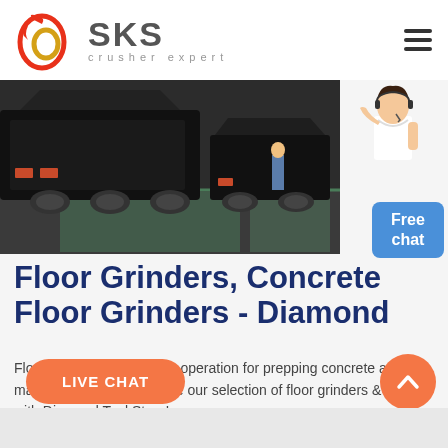[Figure (logo): SKS crusher expert logo with red stylized W/O icon and gray SKS text]
[Figure (photo): Industrial crusher machines in a large warehouse/factory, dark heavy equipment with green painted floor]
[Figure (illustration): Customer service person (woman) illustration and blue Free chat button]
Floor Grinders, Concrete Floor Grinders - Diamond
Floor grinders for versatile operation for prepping concrete and marble stone floors Browse our selection of floor grinders & save with Diamond Tool Store!.
[Figure (other): Orange LIVE CHAT button]
[Figure (other): Orange circular scroll-to-top arrow button]